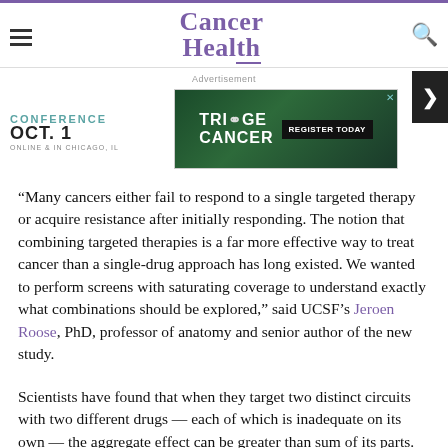Cancer Health
[Figure (other): Advertisement banner for Triage Cancer conference, Oct. 1, Online & in Chicago, IL, with Register Today button]
“Many cancers either fail to respond to a single targeted therapy or acquire resistance after initially responding. The notion that combining targeted therapies is a far more effective way to treat cancer than a single-drug approach has long existed. We wanted to perform screens with saturating coverage to understand exactly what combinations should be explored,” said UCSF’s Jeroen Roose, PhD, professor of anatomy and senior author of the new study.
Scientists have found that when they target two distinct circuits with two different drugs — each of which is inadequate on its own — the aggregate effect can be greater than sum of its parts. However, figuring out which